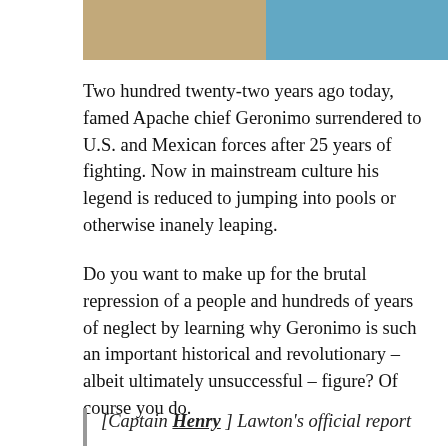[Figure (photo): Two side-by-side photos: left is a sepia-toned historical photo, right is a color photo of someone jumping into a pool/water]
Two hundred twenty-two years ago today, famed Apache chief Geronimo surrendered to U.S. and Mexican forces after 25 years of fighting. Now in mainstream culture his legend is reduced to jumping into pools or otherwise inanely leaping.
Do you want to make up for the brutal repression of a people and hundreds of years of neglect by learning why Geronimo is such an important historical and revolutionary – albeit ultimately unsuccessful – figure? Of course you do.
Oh, I'm sorry, did you say quote Wikipedia at length? Alright:
[Captain Henry ] Lawton's official report